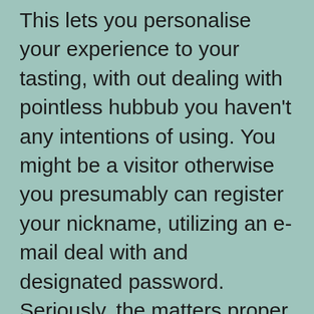This lets you personalise your experience to your tasting, with out dealing with pointless hubbub you haven't any intentions of using. You might be a visitor otherwise you presumably can register your nickname, utilizing an e-mail deal with and designated password. Seriously, the matters proper right here cowl every little factor from naughty to downright perverse, simply meetlnchat the technique by which Cam Fox likes it. There are many different kinds of public chat rooms to choose from, so don't be afraid to experiment. If you're working an grownup chat site, it's a great technique to carry your visitors engaged.